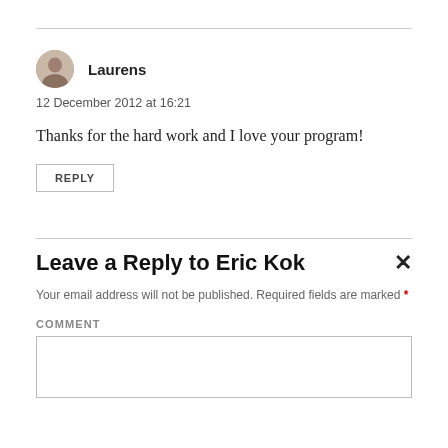[Figure (photo): Avatar/profile picture of user Laurens, a small circular portrait photo]
Laurens
12 December 2012 at 16:21
Thanks for the hard work and I love your program!
REPLY
Leave a Reply to Eric Kok
Your email address will not be published. Required fields are marked *
COMMENT